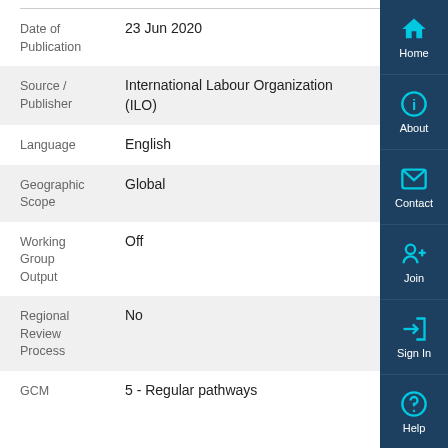| Field | Value |
| --- | --- |
| Date of Publication | 23 Jun 2020 |
| Source / Publisher | International Labour Organization (ILO) |
| Language | English |
| Geographic Scope | Global |
| Working Group Output | Off |
| Regional Review Process | No |
| GCM | 5 - Regular pathways |